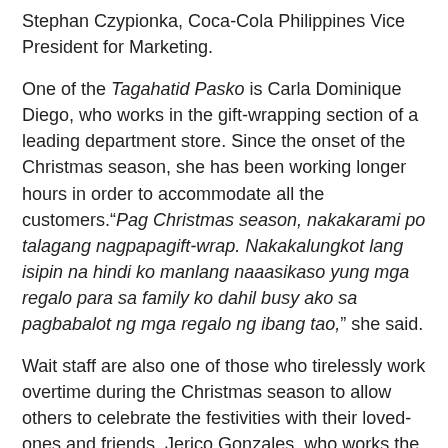Stephan Czypionka, Coca-Cola Philippines Vice President for Marketing.
One of the Tagahatid Pasko is Carla Dominique Diego, who works in the gift-wrapping section of a leading department store. Since the onset of the Christmas season, she has been working longer hours in order to accommodate all the customers.“Pag Christmas season, nakakarami po talagang nagpapagift-wrap. Nakakalungkot lang isipin na hindi ko manlang naaasikaso yung mga regalo para sa family ko dahil busy ako sa pagbabalot ng mga regalo ng ibang tao,” she said.
Wait staff are also one of those who tirelessly work overtime during the Christmas season to allow others to celebrate the festivities with their loved-ones and friends. Jerico Gonzales, who works the night-shift at a restaurant, says that the holiday rush makes its more challenging for them. “May mga guests ako na bumabalik-balik, at naiisip ko, ang saya nila, sana ganyan din nararanasan ko ngayon. Paskong-pasko, di ko manlang nakakasama ang pamilya ko,” he said.
24-year-old Red Cross volunteer...